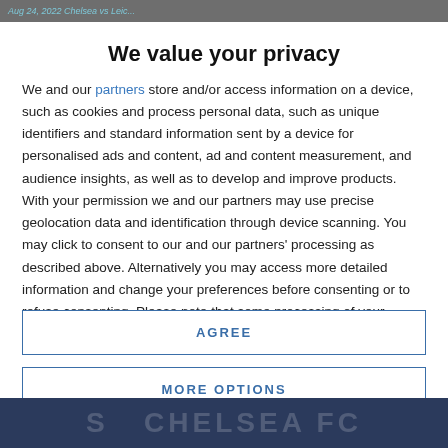Aug 24, 2022 Chelsea vs Leic...
We value your privacy
We and our partners store and/or access information on a device, such as cookies and process personal data, such as unique identifiers and standard information sent by a device for personalised ads and content, ad and content measurement, and audience insights, as well as to develop and improve products. With your permission we and our partners may use precise geolocation data and identification through device scanning. You may click to consent to our and our partners' processing as described above. Alternatively you may access more detailed information and change your preferences before consenting or to refuse consenting. Please note that some processing of your personal data may not require your consent, but you have a right to
AGREE
MORE OPTIONS
[Figure (screenshot): Dark blue footer bar with large faint white text reading partial logo/text including 'S' and 'CHELSEA FC']